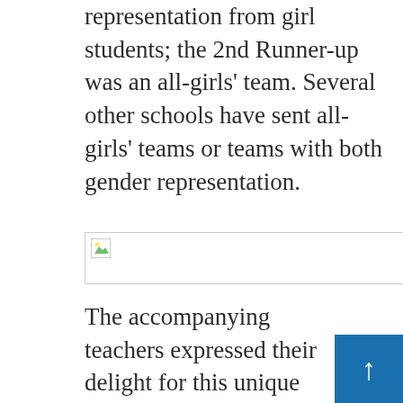representation from girl students; the 2nd Runner-up was an all-girls' team. Several other schools have sent all-girls' teams or teams with both gender representation.
[Figure (photo): Broken/missing image placeholder with small image icon in top-left corner]
The accompanying teachers expressed their delight for this unique platform offered by IIT Kharagpur for budding engineers and scientists of tomorrow. The event was also scaled to international level